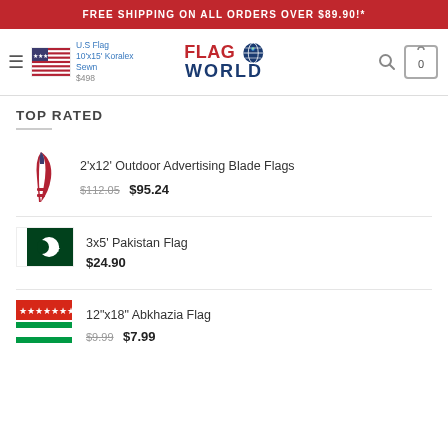FREE SHIPPING ON ALL ORDERS OVER $89.90!*
[Figure (logo): Flag World logo with US flag and globe graphic, hamburger menu, search icon, and cart icon showing 0 items]
TOP RATED
2'x12' Outdoor Advertising Blade Flags — $112.05  $95.24
3x5' Pakistan Flag — $24.90
12"x18" Abkhazia Flag — $9.99  $7.99